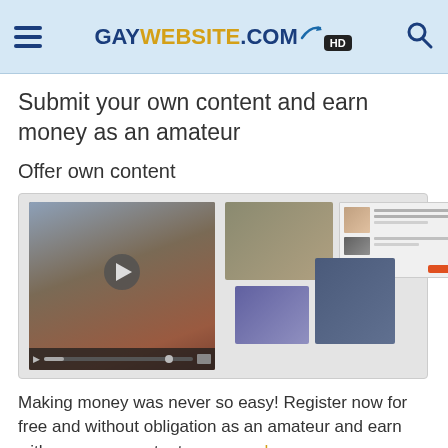GAYWEBSITE.COM HD
Submit your own content and earn money as an amateur
Offer own content
[Figure (screenshot): Media collage showing a video player with a man lying down, alongside thumbnail images of similar content and a screenshot of a website upload form.]
Making money was never so easy! Register now for free and without obligation as an amateur and earn with your own contents very much money.
gaywebsite.com ist der Marktplatz für echte Amateurerotik. Melde auch du dich jetzt kostenlos an und verdiene mit deinen